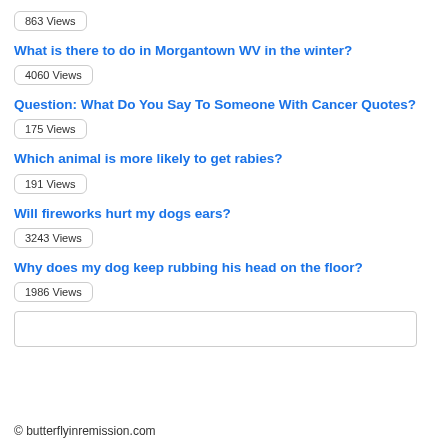863 Views
What is there to do in Morgantown WV in the winter?
4060 Views
Question: What Do You Say To Someone With Cancer Quotes?
175 Views
Which animal is more likely to get rabies?
191 Views
Will fireworks hurt my dogs ears?
3243 Views
Why does my dog keep rubbing his head on the floor?
1986 Views
© butterflyinremission.com